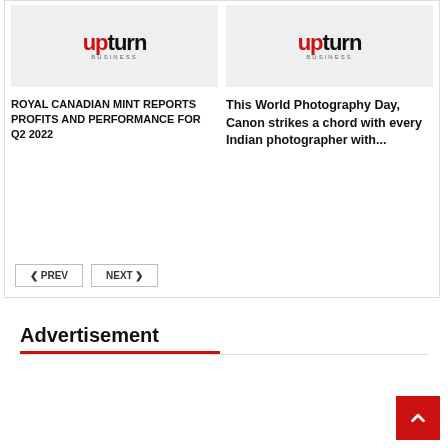[Figure (logo): Business Upturn logo - red 'up' and black 'turn' wordmark with subtitle]
ROYAL CANADIAN MINT REPORTS PROFITS AND PERFORMANCE FOR Q2 2022
[Figure (logo): Business Upturn logo - red 'up' and black 'turn' wordmark with subtitle]
This World Photography Day, Canon strikes a chord with every Indian photographer with...
PREV  NEXT
Advertisement